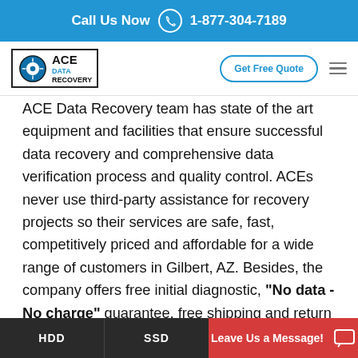Call Us Now 1-877-304-7189
[Figure (logo): ACE Data Recovery logo with circular disk icon and text 'ace DATA RECOVERY']
ACE Data Recovery team has state of the art equipment and facilities that ensure successful data recovery and comprehensive data verification process and quality control. ACEs never use third-party assistance for recovery projects so their services are safe, fast, competitively priced and affordable for a wide range of customers in Gilbert, AZ. Besides, the company offers free initial diagnostic, "No data - No charge" guarantee, free shipping and return media for completed projects.
HDD   SSD   Leave Us a Message!